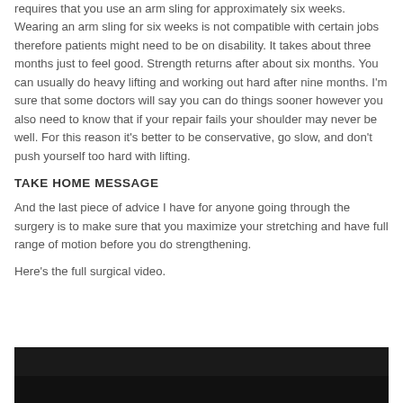requires that you use an arm sling for approximately six weeks. Wearing an arm sling for six weeks is not compatible with certain jobs therefore patients might need to be on disability. It takes about three months just to feel good. Strength returns after about six months. You can usually do heavy lifting and working out hard after nine months. I'm sure that some doctors will say you can do things sooner however you also need to know that if your repair fails your shoulder may never be well. For this reason it's better to be conservative, go slow, and don't push yourself too hard with lifting.
TAKE HOME MESSAGE
And the last piece of advice I have for anyone going through the surgery is to make sure that you maximize your stretching and have full range of motion before you do strengthening.
Here's the full surgical video.
[Figure (screenshot): Dark video player thumbnail, black/dark gray background representing a surgical video]